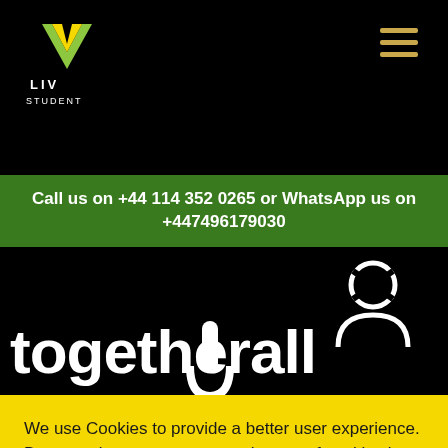LIV STUDENT
Call us on +44 114 352 0265 or WhatsApp us on +447496179030
[Figure (illustration): Togetherall website screenshot showing large white 'togetherall' text on black background with person icon and hook/anchor graphic]
We use Cookies to provide a better user experience. By accepting, you consent to the use of cookies in accordance with our Privacy Policy.
ACCEPT  REJECT